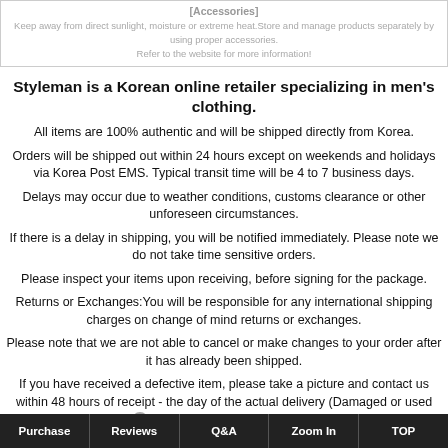[Accessories]
Keep away from direct sunlight, moisture or extreme heat.Store and manage products separately by using proper accessories. Refer to the website for more information!
Styleman is a Korean online retailer specializing in men's clothing.
All items are 100% authentic and will be shipped directly from Korea.
Orders will be shipped out within 24 hours except on weekends and holidays via Korea Post EMS. Typical transit time will be 4 to 7 business days.
Delays may occur due to weather conditions, customs clearance or other unforeseen circumstances.
If there is a delay in shipping, you will be notified immediately. Please note we do not take time sensitive orders.
Please inspect your items upon receiving, before signing for the package.
Returns or Exchanges:You will be responsible for any international shipping charges on change of mind returns or exchanges.
Please note that we are not able to cancel or make changes to your order after it has already been shipped.
If you have received a defective item, please take a picture and contact us within 48 hours of receipt - the day of the actual delivery (Damaged or used items are not eligible for refunds or exchanges.)
Purchase | Reviews | Q&A | Zoom In | TOP